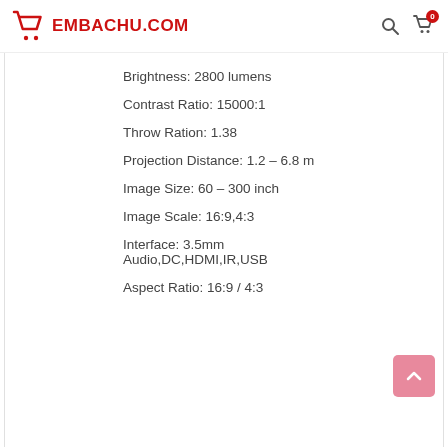EMBACHU.COM
Brightness: 2800 lumens
Contrast Ratio: 15000:1
Throw Ration: 1.38
Projection Distance: 1.2 – 6.8 m
Image Size: 60 – 300 inch
Image Scale: 16:9,4:3
Interface: 3.5mm Audio,DC,HDMI,IR,USB
Aspect Ratio: 16:9 / 4:3